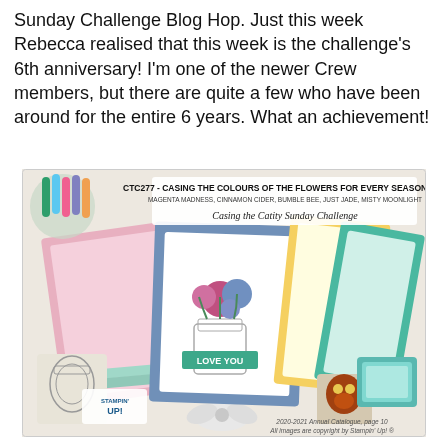Sunday Challenge Blog Hop. Just this week Rebecca realised that this week is the challenge's 6th anniversary! I'm one of the newer Crew members, but there are quite a few who have been around for the entire 6 years. What an achievement!
[Figure (photo): Promotional image for CTC277 - Casing the Colours of the Flowers for Every Season DSP. Shows craft cards, stamps, markers, and decorative elements. Text reads: CTC277 - CASING THE COLOURS OF THE FLOWERS FOR EVERY SEASON DSP, MAGENTA MADNESS, CINNAMON CIDER, BUMBLE BEE, JUST JADE, MISTY MOONLIGHT. Cursive text: Casing the Catity Sunday Challenge. Bottom right: 2020-2021 Annual Catalogue, page 10. All images are copyright by Stampin' Up! ®. Stampin' Up! logo visible. Features handmade greeting cards with floral designs in pink, blue, yellow, and teal, along with crafting supplies.]